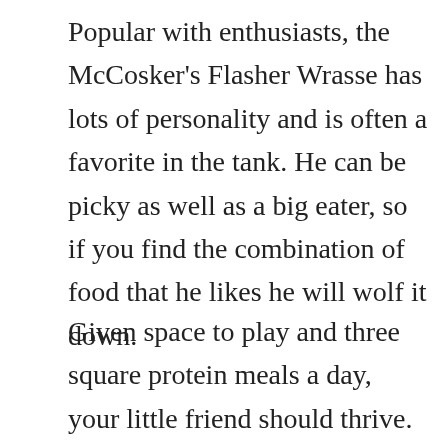Popular with enthusiasts, the McCosker's Flasher Wrasse has lots of personality and is often a favorite in the tank. He can be picky as well as a big eater, so if you find the combination of food that he likes he will wolf it down.
Given space to play and three square protein meals a day, your little friend should thrive.
[Figure (other): Advertisement banner for Frontgate: Outdoor Furniture and Bedding. Shows a dark image with '25% OFF SITEWIDE' text on the left, ad copy in the center reading 'Frontgate: Outdoor Furniture | Bedding — 25% off site wide sale going on now at Frontgate.com — frontgate.com', and a blue circular arrow button on the right.]